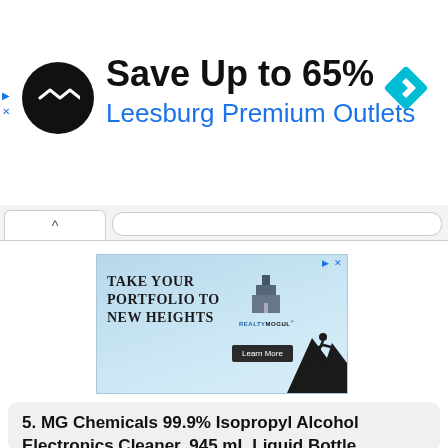[Figure (screenshot): Top banner advertisement: circular black logo with double arrow symbol, text 'Save Up to 65%' in bold black, 'Leesburg Premium Outlets' in blue, and a teal diamond navigation icon on the right. Small play/close ad icons on the left.]
[Figure (screenshot): Browser tab bar with a collapsed tab showing a caret (^) symbol and an address bar.]
[Figure (screenshot): Middle advertisement with light blue background: 'TAKE YOUR PORTFOLIO TO NEW HEIGHTS' text, RealtyMogul logo and building icon, 'Learn More' dark button, mountain climber silhouette on the right. Small ad/close icons top right.]
5. MG Chemicals 99.9% Isopropyl Alcohol Electronics Cleaner, 945 mL Liquid Bottle
34 mentions
[Figure (photo): Partial image of a clear plastic bottle with a white cap, cropped at the bottom of the page.]